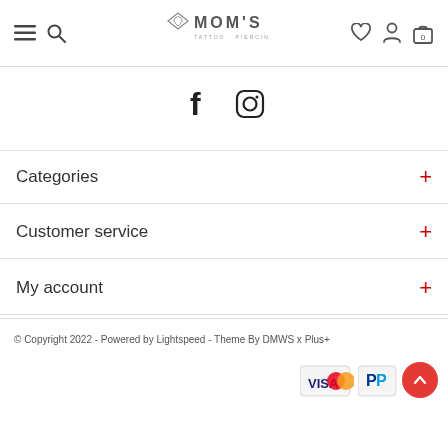MOM'S TATTOO · PIERCING · JEWELRY — navigation header with menu, search, wishlist, account, cart icons
[Figure (illustration): Facebook and Instagram social icons centered on page]
Categories +
Customer service +
My account +
© Copyright 2022 - Powered by Lightspeed - Theme By DMWS x Plus+
[Figure (illustration): Payment method icons: Visa, Mastercard, PayPal, and a scroll-to-top red circular button with upward arrow]